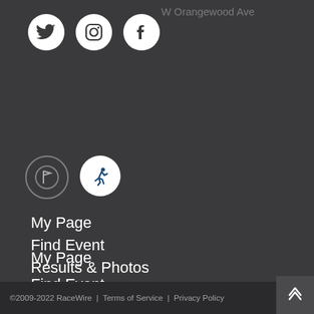[Figure (screenshot): Dark map background with faint street labels and business names]
[Figure (infographic): Social media icons: Twitter, Instagram, Facebook in white circles]
[Figure (infographic): Map pin/flag icon (outline circle) and running person icon (white circle)]
My Page
Find Event
Results & Photos
Meet RaceWire
Race Directors
Contact
Result Correction
©2009-2022 RaceWire  |  Terms of Service  |  Privacy Policy